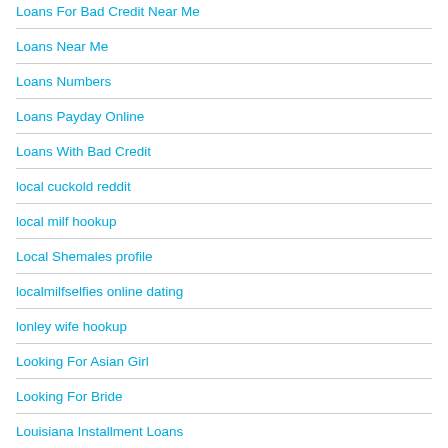Loans For Bad Credit Near Me
Loans Near Me
Loans Numbers
Loans Payday Online
Loans With Bad Credit
local cuckold reddit
local milf hookup
Local Shemales profile
localmilfselfies online dating
lonley wife hookup
Looking For Asian Girl
Looking For Bride
Louisiana Installment Loans